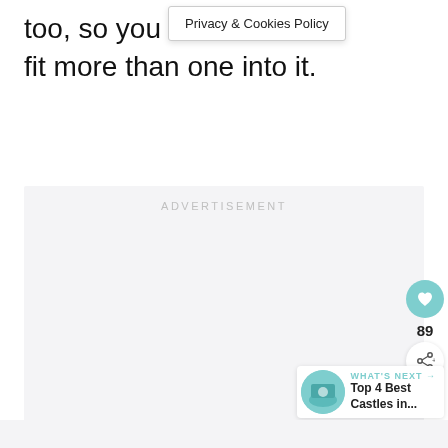too, so you can eas… fit more than one into it.
Privacy & Cookies Policy
[Figure (other): Advertisement placeholder box with light grey background and 'ADVERTISEMENT' label in light grey uppercase text]
[Figure (other): Teal/cyan circular like (heart) button icon]
89
[Figure (other): White circular share button with share icon]
[Figure (other): What's Next card showing thumbnail image and title 'Top 4 Best Castles in...' with teal label 'WHAT'S NEXT →']